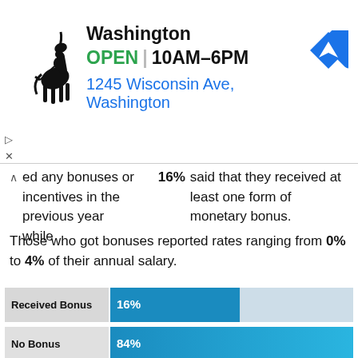[Figure (screenshot): Polo Ralph Lauren store advertisement banner showing Washington store, OPEN 10AM-6PM, 1245 Wisconsin Ave, Washington with horse logo and navigation icon]
ed any bonuses or incentives in the previous year while 16% said that they received at least one form of monetary bonus.
Those who got bonuses reported rates ranging from 0% to 4% of their annual salary.
[Figure (bar-chart): Bonus Receipt Rate]
Types of Bonuses Considered
Individual Performance-Based Bonuses
The most standard form of bonus where the